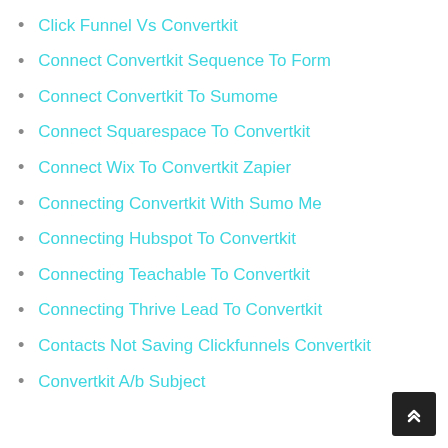Click Funnel Vs Convertkit
Connect Convertkit Sequence To Form
Connect Convertkit To Sumome
Connect Squarespace To Convertkit
Connect Wix To Convertkit Zapier
Connecting Convertkit With Sumo Me
Connecting Hubspot To Convertkit
Connecting Teachable To Convertkit
Connecting Thrive Lead To Convertkit
Contacts Not Saving Clickfunnels Convertkit
Convertkit A/b Subject